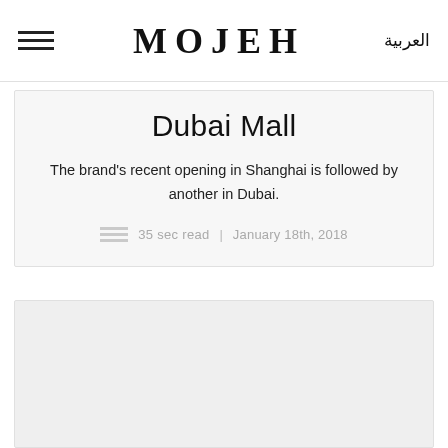MOJEH | العربية
Dubai Mall
The brand's recent opening in Shanghai is followed by another in Dubai.
35 sec read  |  January 18th, 2018
[Figure (photo): Large image placeholder area below article card, light gray background]